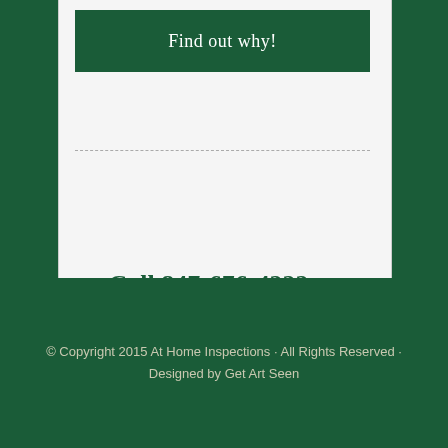Find out why!
Call 847-676-4222 or
Schedule Inspection Now!
© Copyright 2015 At Home Inspections · All Rights Reserved · Designed by Get Art Seen